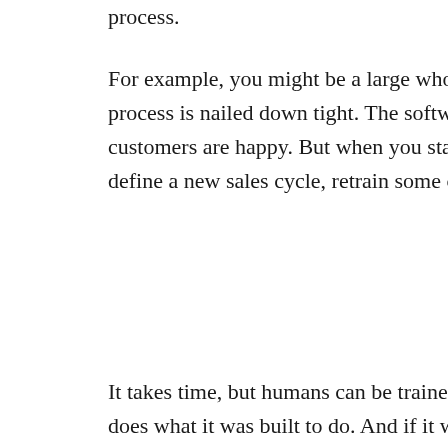process.
For example, you might be a large wholesale company, and your billing and shipping software process is nailed down tight. The software works great, everyone knows how to use it, and customers are happy. But when you start offering equipment rentals as well, you'll have to define a new sales cycle, retrain some customer service reps, and figure out recurring billing.
It takes time, but humans can be trained to do something new. Software on the other hand... does what it was built to do. And if it wasn't